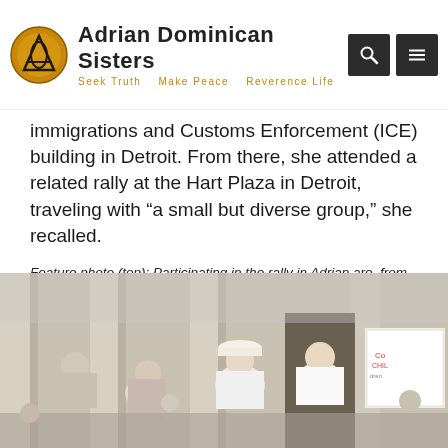Adrian Dominican Sisters — Seek Truth  Make Peace  Reverence Life
immigrations and Customs Enforcement (ICE) building in Detroit. From there, she attended a related rally at the Hart Plaza in Detroit, traveling with “a small but diverse group,” she recalled.
Feature photo (top): Participating in the rally in Adrian are, from left, Sisters Joella Miller, OP; Maurine Barzantni, OP; Corinne Sanders, OP; Carmen Álvarez, OP; and Sara Fairbanks, OP.
[Figure (photo): Crowd of people gathered at a rally in front of a building with columns. Several people hold signs. Many are wearing white shirts and hats.]